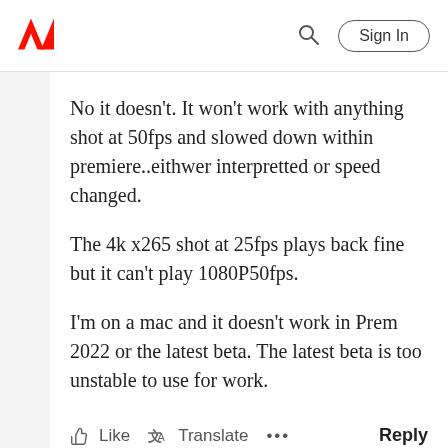Adobe — Sign In
No it doesn't. It won't work with anything shot at 50fps and slowed down within premiere..eithwer interpretted or speed changed.
The 4k x265 shot at 25fps plays back fine but it can't play 1080P50fps.
I'm on a mac and it doesn't work in Prem 2022 or the latest beta. The latest beta is too unstable to use for work.
Like  Translate  ...  Reply